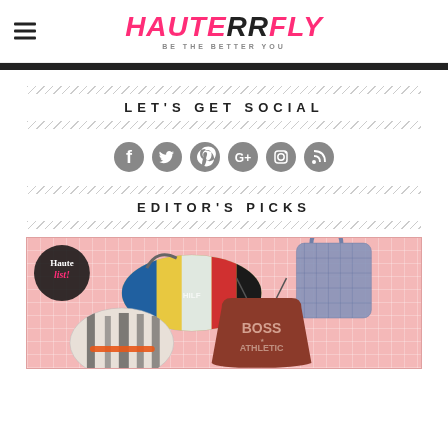HAUTERRFLY — BE THE BETTER YOU
LET'S GET SOCIAL
[Figure (illustration): Six social media icon circles: Facebook, Twitter, Pinterest, Google+, Instagram, RSS]
EDITOR'S PICKS
[Figure (photo): Editor's Picks image showing gym bags: Tommy Hilfiger colorblock duffel, blue quilted tote, zebra print bag, BOSS Athletic drawstring bag on pink grid background with Haute List badge]